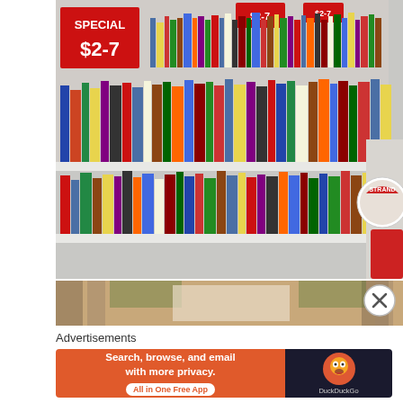[Figure (photo): Outdoor bookstore shelving unit with multiple shelves packed with colorful books. A red sign reads 'SPECIAL $2-7' in the upper left. Books are stacked and standing upright across multiple shelves. A circular 'STRAND' bookstore sticker is visible on the right side.]
[Figure (photo): Partial image of an ornate architectural detail, appears to be a building facade with decorative elements, tan/gold color.]
Advertisements
[Figure (infographic): DuckDuckGo advertisement banner. Orange left section with white bold text: 'Search, browse, and email with more privacy.' and a white pill button 'All in One Free App'. Dark right section with DuckDuckGo circular logo and 'DuckDuckGo' text.]